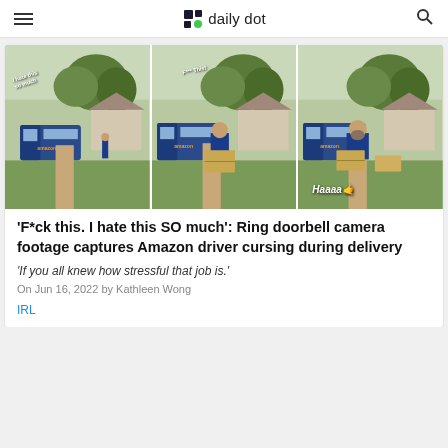daily dot
[Figure (photo): Three-panel Ring doorbell camera footage showing an Amazon delivery driver approaching a house, carrying a large box, with text overlays reading 'I hate this so much', 'F*** This!', and 'Haaaa' with an emoji]
'F*ck this. I hate this SO much': Ring doorbell camera footage captures Amazon driver cursing during delivery
'If you all knew how stressful that job is.'
On Jun 16, 2022 by Kathleen Wong
IRL